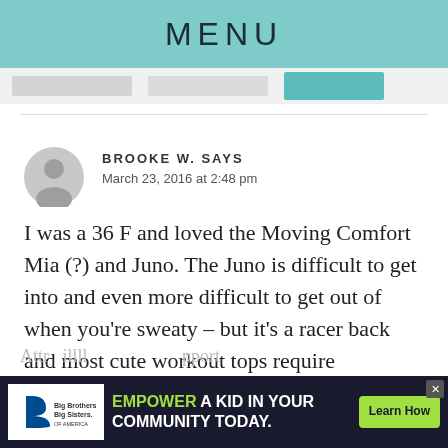MENU
BROOKE W. SAYS
March 23, 2016 at 2:48 pm
I was a 36 F and loved the Moving Comfort Mia (?) and Juno. The Juno is difficult to get into and even more difficult to get out of when you're sweaty – but it's a racer back and most cute workout tops require racerback. I recently discovered Shock
[Figure (infographic): Big Brothers Big Sisters advertisement: EMPOWER A KID IN YOUR COMMUNITY TODAY. Learn How button.]